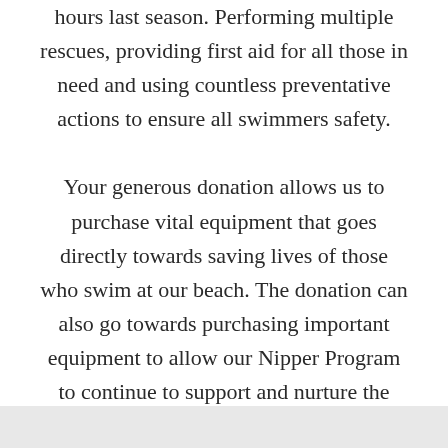hours last season. Performing multiple rescues, providing first aid for all those in need and using countless preventative actions to ensure all swimmers safety.

Your generous donation allows us to purchase vital equipment that goes directly towards saving lives of those who swim at our beach. The donation can also go towards purchasing important equipment to allow our Nipper Program to continue to support and nurture the growth of surf skills in children. If you have a preference for which section of the club your donation goes to please feel free to